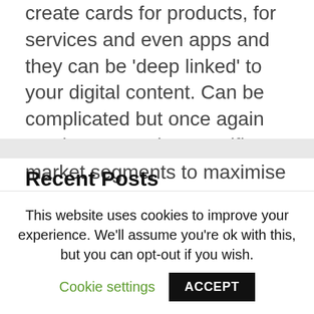create cards for products, for services and even apps and they can be 'deep linked' to your digital content.  Can be complicated but once again can be targeted at specific market segments to maximise your reach.
Recent Posts
Securing WordPress
This website uses cookies to improve your experience. We'll assume you're ok with this, but you can opt-out if you wish.
Cookie settings  ACCEPT